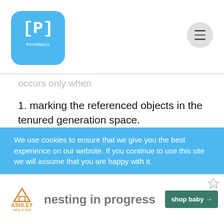PerfMatrix
occurs only when
1. marking the referenced objects in the tenured generation space.
2. if there is a change in heap memory in parallel while doing the garbage collection.
JVM argument to use the CMS garbage collector is:
-XX:+UseConcMarkSweepGC
We use cookies to ensure that we give you the best experience on our website. If you continue to use this site we will assume that you are happy with it.